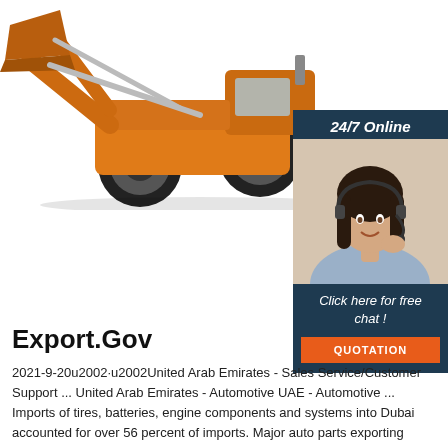[Figure (photo): A yellow/orange large wheel loader (construction vehicle) photographed from a low angle against a white background, with a large bucket/scoop at the front and massive tires.]
[Figure (photo): A chat widget panel with dark navy blue background. Top section reads '24/7 Online' in white italic text. Center shows a photo of a smiling woman with dark hair wearing a headset and light blue shirt. Bottom section reads 'Click here for free chat !' in white italic text, with an orange button labeled 'QUOTATION'.]
Export.Gov
2021-9-20u2002·u2002United Arab Emirates - Sales Service/Customer Support ... United Arab Emirates - Automotive UAE - Automotive ... Imports of tires, batteries, engine components and systems into Dubai accounted for over 56 percent of imports. Major auto parts exporting countries to the UAE included Japan (14